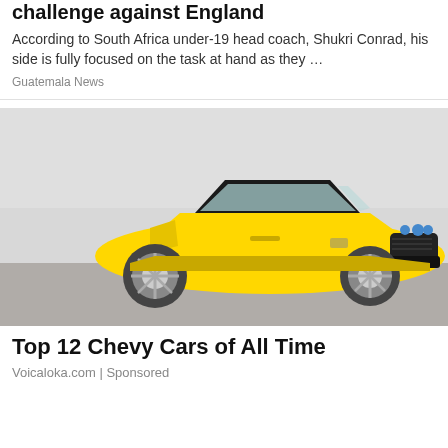challenge against England
According to South Africa under-19 head coach, Shukri Conrad, his side is fully focused on the task at hand as they …
Guatemala News
[Figure (photo): Yellow Chevrolet Corvette ZR1 sports car photographed on a light background, three-quarter front view]
Top 12 Chevy Cars of All Time
Voicaloka.com | Sponsored